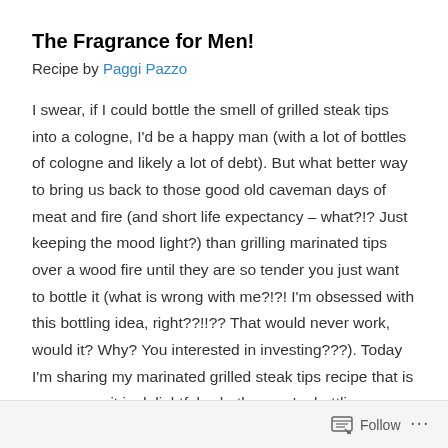The Fragrance for Men!
Recipe by Paggi Pazzo
I swear, if I could bottle the smell of grilled steak tips into a cologne, I'd be a happy man (with a lot of bottles of cologne and likely a lot of debt). But what better way to bring us back to those good old caveman days of meat and fire (and short life expectancy – what?!? Just keeping the mood light?) than grilling marinated tips over a wood fire until they are so tender you just want to bottle it (what is wrong with me?!?! I'm obsessed with this bottling idea, right??!!?? That would never work, would it? Why? You interested in investing???). Today I'm sharing my marinated grilled steak tips recipe that is as easy as it is delightful, whether you're bottling your steak tips for further
Follow ...